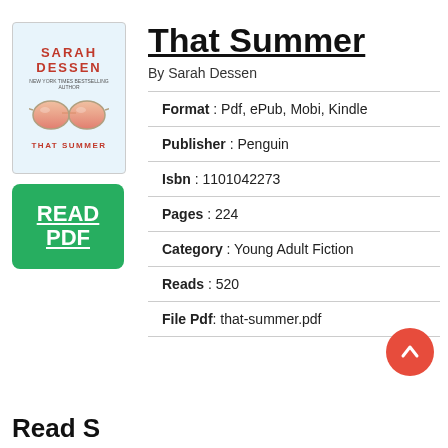[Figure (illustration): Book cover for 'That Summer' by Sarah Dessen, showing sunglasses on a beach background, with 'SARAH DESSEN' in red text and 'THAT SUMMER' at the bottom.]
[Figure (other): Green 'READ PDF' button with underlined white text.]
That Summer
By Sarah Dessen
| Format | Pdf, ePub, Mobi, Kindle |
| Publisher | Penguin |
| Isbn | 1101042273 |
| Pages | 224 |
| Category | Young Adult Fiction |
| Reads | 520 |
| File Pdf | that-summer.pdf |
Read S...